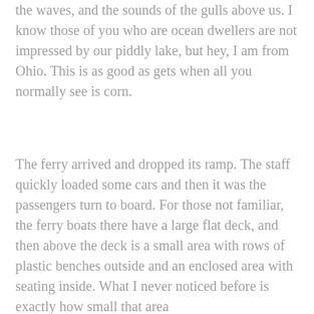the waves, and the sounds of the gulls above us. I know those of you who are ocean dwellers are not impressed by our piddly lake, but hey, I am from Ohio. This is as good as gets when all you normally see is corn.
The ferry arrived and dropped its ramp. The staff quickly loaded some cars and then it was the passengers turn to board. For those not familiar, the ferry boats there have a large flat deck, and then above the deck is a small area with rows of plastic benches outside and an enclosed area with seating inside. What I never noticed before is exactly how small that area